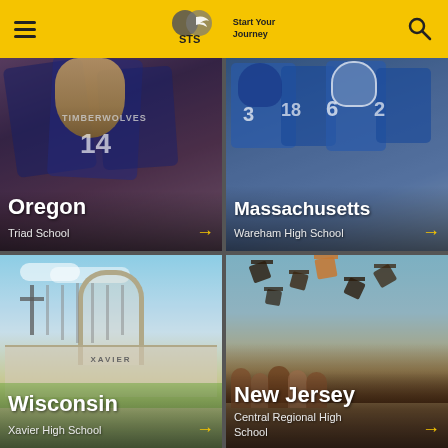[Figure (screenshot): STS (Start Your Journey) website header with hamburger menu, logo, and search icon on yellow background]
[Figure (photo): Oregon – Triad School card with photo of athletes in navy Timberwolves jerseys with arrow]
[Figure (photo): Massachusetts – Wareham High School card with photo of football team in blue uniforms with arrow]
[Figure (photo): Wisconsin – Xavier High School card with photo of Xavier school building/church with cross and arrow]
[Figure (photo): New Jersey – Central Regional High School card with photo of graduation caps being tossed with arrow]